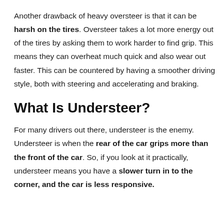Another drawback of heavy oversteer is that it can be harsh on the tires. Oversteer takes a lot more energy out of the tires by asking them to work harder to find grip. This means they can overheat much quick and also wear out faster. This can be countered by having a smoother driving style, both with steering and accelerating and braking.
What Is Understeer?
For many drivers out there, understeer is the enemy. Understeer is when the rear of the car grips more than the front of the car. So, if you look at it practically, understeer means you have a slower turn in to the corner, and the car is less responsive.